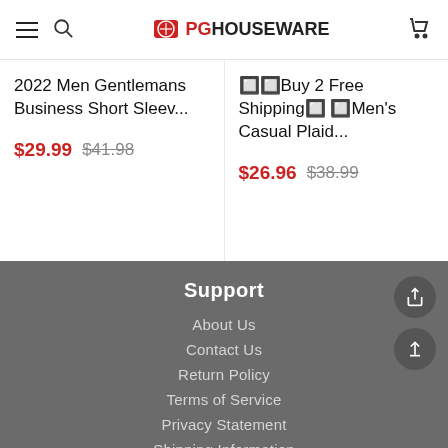PGHouseWare
2022 Men Gentlemans Business Short Sleev... $29.99 $41.98
Buy 2 Free Shipping Men's Casual Plaid... $26.96 $38.99
Support
About Us
Contact Us
Return Policy
Terms of Service
Privacy Statement
Shipping Information
Intellectual Property Rights